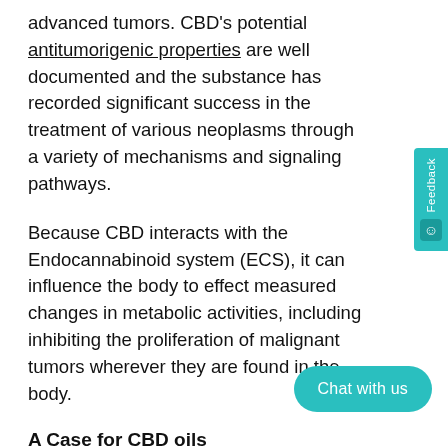advanced tumors. CBD's potential antitumorigenic properties are well documented and the substance has recorded significant success in the treatment of various neoplasms through a variety of mechanisms and signaling pathways.
Because CBD interacts with the Endocannabinoid system (ECS), it can influence the body to effect measured changes in metabolic activities, including inhibiting the proliferation of malignant tumors wherever they are found in the body.
A Case for CBD oils